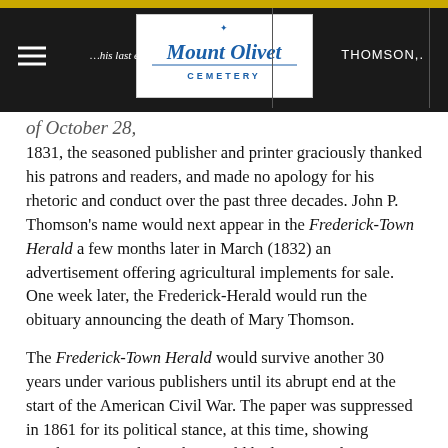Mount Olivet Cemetery | THOMSON, | ...his last edition, | of October 28,
of October 28, 1831, the seasoned publisher and printer graciously thanked his patrons and readers, and made no apology for his rhetoric and conduct over the past three decades. John P. Thomson's name would next appear in the Frederick-Town Herald a few months later in March (1832) an advertisement offering agricultural implements for sale. One week later, the Frederick-Herald would run the obituary announcing the death of Mary Thomson.
The Frederick-Town Herald would survive another 30 years under various publishers until its abrupt end at the start of the American Civil War. The paper was suppressed in 1861 for its political stance, at this time, showing Southern sympathies. The Herald had supported presidential candidate John C. Breckinridge, former vice-president and